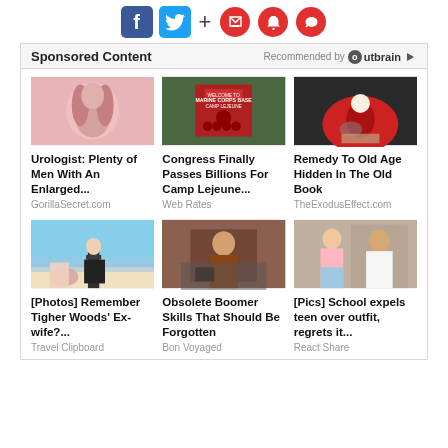[Figure (infographic): Social media icons: Facebook (blue), Twitter (blue), plus sign, and three red circular icons (bookmark, bell, chat)]
Sponsored Content
Recommended by Outbrain
[Figure (photo): Medical illustration of enlarged prostate]
Urologist: Plenty of Men With An Enlarged...
GorillaSecret.com
[Figure (photo): Marine Corps Base Camp Lejeune sign]
Congress Finally Passes Billions For Camp Lejeune...
Web Rates
[Figure (photo): Hand holding a rambutan fruit]
Remedy To Old Age Hidden In The Old Book
TheExodusEffect.com
[Figure (photo): Woman in bikini on beach]
[Photos] Remember Tigher Woods' Ex-wife?...
Travel Clipboard
[Figure (photo): Elderly man working at desk]
Obsolete Boomer Skills That Should Be Forgotten
Bon Voyaged
[Figure (photo): Teen girl and man standing together]
[Pics] School expels teen over outfit, regrets it...
React Share